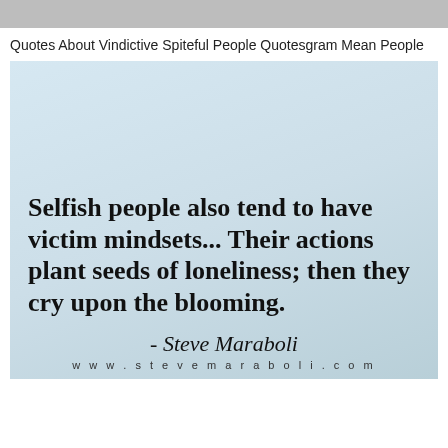Quotes About Vindictive Spiteful People Quotesgram Mean People
[Figure (illustration): A light blue gradient background quote card with the text: 'Selfish people also tend to have victim mindsets... Their actions plant seeds of loneliness; then they cry upon the blooming.' attributed to Steve Maraboli with website www.stevemaraboli.com]